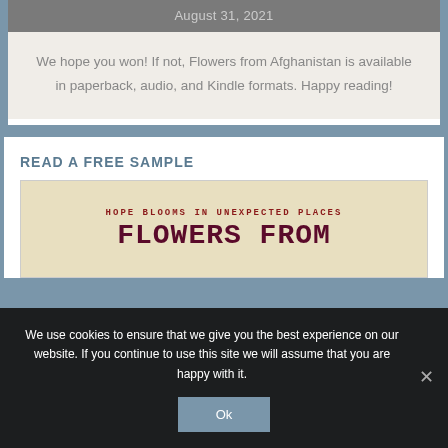August 31, 2021
We hope you won! If not, Flowers from Afghanistan is available in paperback, audio, and Kindle formats. Happy reading!
READ A FREE SAMPLE
[Figure (illustration): Book cover showing text 'HOPE BLOOMS IN UNEXPECTED PLACES' as subtitle and 'FLOWERS FROM' as partial title in large serif monospace font on a tan/beige background]
We use cookies to ensure that we give you the best experience on our website. If you continue to use this site we will assume that you are happy with it.